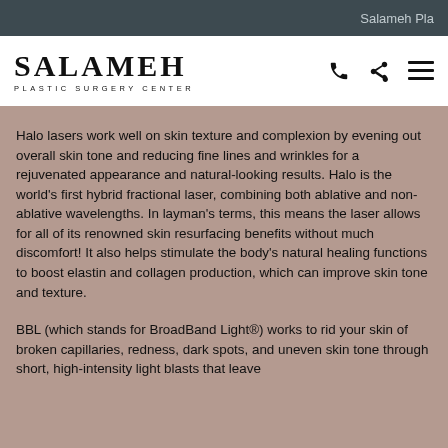Salameh Pla
[Figure (logo): Salameh Plastic Surgery Center logo with phone, share, and menu icons]
Halo lasers work well on skin texture and complexion by evening out overall skin tone and reducing fine lines and wrinkles for a rejuvenated appearance and natural-looking results. Halo is the world's first hybrid fractional laser, combining both ablative and non-ablative wavelengths. In layman's terms, this means the laser allows for all of its renowned skin resurfacing benefits without much discomfort! It also helps stimulate the body's natural healing functions to boost elastin and collagen production, which can improve skin tone and texture.
BBL (which stands for BroadBand Light®) works to rid your skin of broken capillaries, redness, dark spots, and uneven skin tone through short, high-intensity light blasts that leave